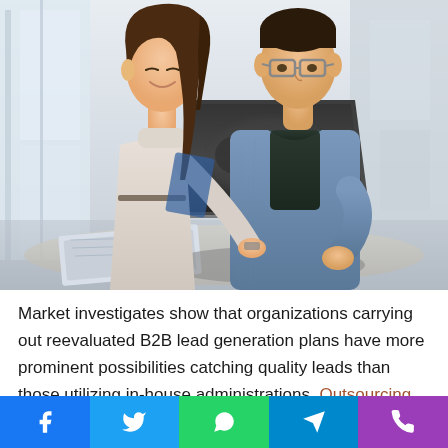[Figure (photo): Two people, a woman and a man, looking at a laptop together in a bright office setting. The woman is standing behind the man, both focused on the screen.]
Market investigates show that organizations carrying out reevaluated B2B lead generation plans have more prominent possibilities catching quality leads than those utilizing in-house administrations. Outsourcing B2B lead generation implies